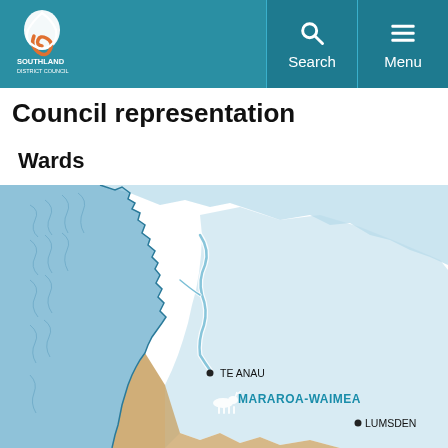Southland District Council — Search / Menu navigation bar
Council representation
Wards
[Figure (map): Partial map of Southland District showing ward boundaries. A blue-shaded region dominates the left and upper area. A lighter blue area labelled MARAROA-WAIMEA is visible in the centre-right, with place markers for TE ANAU and LUMSDEN. A brown/ochre shaded area appears at the bottom of the map.]